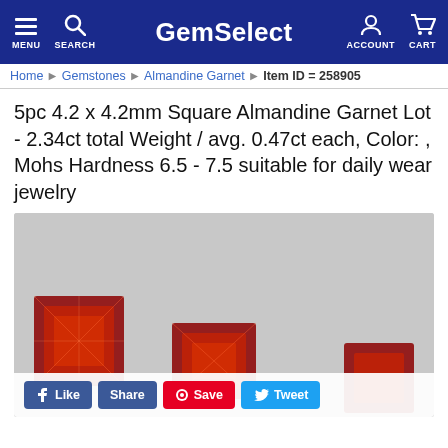GemSelect — MENU SEARCH ACCOUNT CART
Home Gemstones Almandine Garnet Item ID = 258905
5pc 4.2 x 4.2mm Square Almandine Garnet Lot - 2.34ct total Weight / avg. 0.47ct each, Color: , Mohs Hardness 6.5 - 7.5 suitable for daily wear jewelry
[Figure (photo): Five square-cut deep red Almandine Garnet gemstones arranged on a gray background, showing faceted surfaces with rich red color.]
Like | Share | Save | Tweet